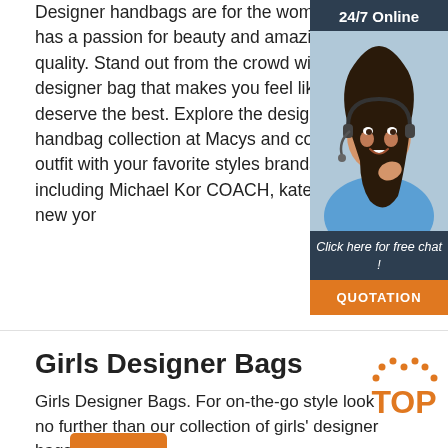Designer handbags are for the woman that has a passion for beauty and amazing quality. Stand out from the crowd with a designer bag that makes you feel like you deserve the best. Explore the designer handbag collection at Macys and complete your outfit with your favorite styles and brands including Michael Kors, COACH, kate spade new yor
[Figure (infographic): Ad widget with '24/7 Online' header, photo of smiling woman with headset, text 'Click here for free chat!' and orange QUOTATION button]
Get Price
Girls Designer Bags
[Figure (logo): Orange 'TOP' badge with dotted arc above the text]
Girls Designer Bags. For on-the-go style look no further than our collection of girls' designer bags —